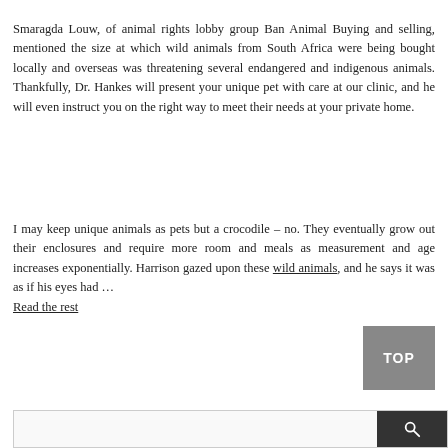Smaragda Louw, of animal rights lobby group Ban Animal Buying and selling, mentioned the size at which wild animals from South Africa were being bought locally and overseas was threatening several endangered and indigenous animals. Thankfully, Dr. Hankes will present your unique pet with care at our clinic, and he will even instruct you on the right way to meet their needs at your private home.
I may keep unique animals as pets but a crocodile – no. They eventually grow out their enclosures and require more room and meals as measurement and age increases exponentially. Harrison gazed upon these wild animals, and he says it was as if his eyes had … Read the rest